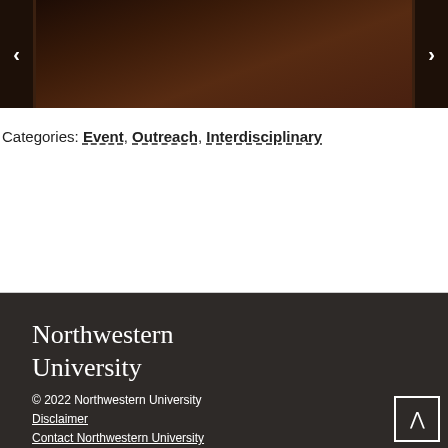[Figure (photo): Dark photograph of a person, partially visible, with navigation arrows on left and right sides for a slideshow carousel]
Categories: Event, Outreach, Interdisciplinary
Northwestern University
© 2022 Northwestern University
Disclaimer
Contact Northwestern University
Careers
Campus Emergency Information
University Policies